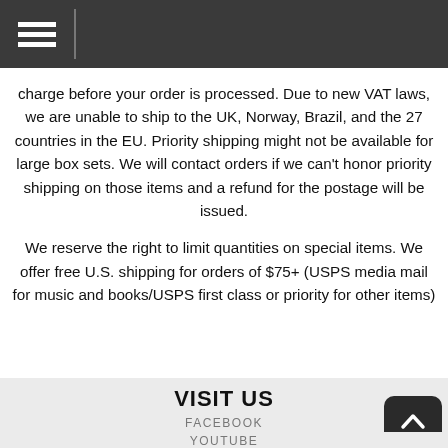charge before your order is processed. Due to new VAT laws, we are unable to ship to the UK, Norway, Brazil, and the 27 countries in the EU. Priority shipping might not be available for large box sets. We will contact orders if we can't honor priority shipping on those items and a refund for the postage will be issued.
We reserve the right to limit quantities on special items. We offer free U.S. shipping for orders of $75+ (USPS media mail for music and books/USPS first class or priority for other items)
VISIT US
FACEBOOK
TWITTER
YOUTUBE
INSTAGRAM
TIKTOK